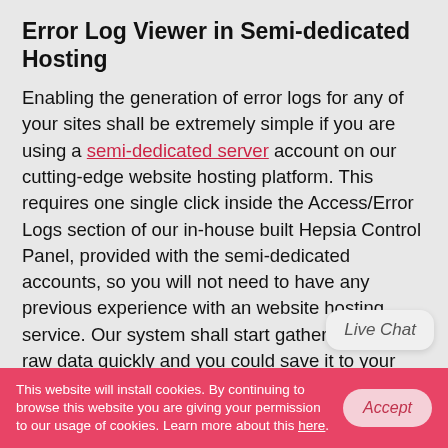Error Log Viewer in Semi-dedicated Hosting
Enabling the generation of error logs for any of your sites shall be extremely simple if you are using a semi-dedicated server account on our cutting-edge website hosting platform. This requires one single click inside the Access/Error Logs section of our in-house built Hepsia Control Panel, provided with the semi-dedicated accounts, so you will not need to have any previous experience with an website hosting service. Our system shall start gathering up the raw data quickly and you could save it to your personal computer by clicking on the Download button, that is located in the very same section of the CP. If you want to use human-readable charts and prepare functionality reports, you'll be able to process the
Live Chat
This website will install cookies. By continuing to browse this website you are giving your permission to our usage of cookies. Learn more about this here.